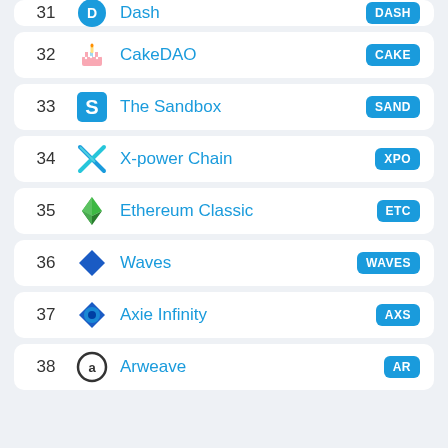31 Dash DASH
32 CakeDAO CAKE
33 The Sandbox SAND
34 X-power Chain XPO
35 Ethereum Classic ETC
36 Waves WAVES
37 Axie Infinity AXS
38 Arweave AR